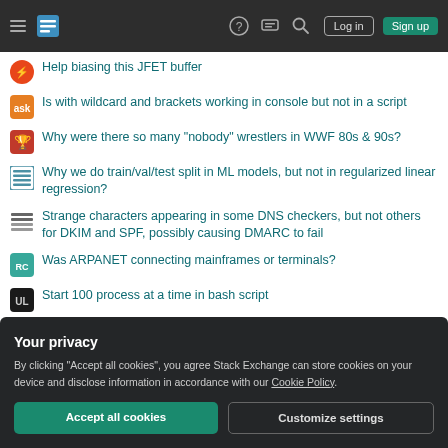Stack Exchange navigation bar with Log in and Sign up buttons
Help biasing this JFET buffer
Is with wildcard and brackets working in console but not in a script
Why were there so many "nobody" wrestlers in WWF 80s & 90s?
Why we do train/val/test split in ML models, but not in regularized linear regression?
Strange characters appearing in some DNS checkers, but not others for DKIM and SPF, possibly causing DMARC to fail
Was ARPANET connecting mainframes or terminals?
Start 100 process at a time in bash script
Relative valuative criteria of properness for flat morphisms
Your privacy
By clicking “Accept all cookies”, you agree Stack Exchange can store cookies on your device and disclose information in accordance with our Cookie Policy.